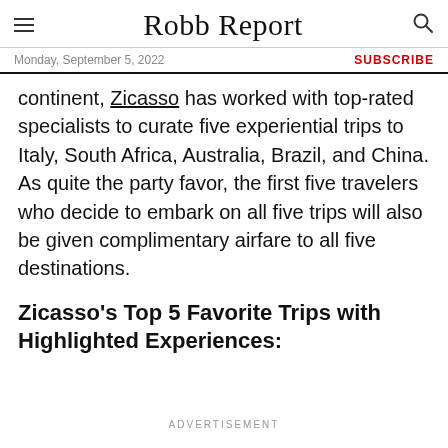≡  Robb Report  🔍
Monday, September 5, 2022   SUBSCRIBE
continent, Zicasso has worked with top-rated specialists to curate five experiential trips to Italy, South Africa, Australia, Brazil, and China. As quite the party favor, the first five travelers who decide to embark on all five trips will also be given complimentary airfare to all five destinations.
Zicasso's Top 5 Favorite Trips with Highlighted Experiences:
ADVERTISEMENT